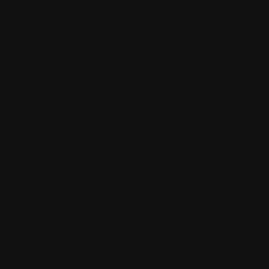[Figure (photo): A nearly fully black/very dark image with no discernible content. The page appears to be a blank or blacked-out page.]